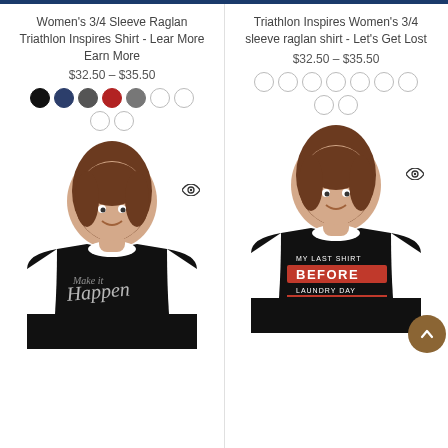Women's 3/4 Sleeve Raglan Triathlon Inspires Shirt - Lear More Earn More
$32.50 – $35.50
[Figure (other): Color swatches: black, navy, dark gray, red, mid gray, white, white]
[Figure (photo): Woman wearing black and white 3/4 sleeve raglan shirt with script 'Happen' text]
Triathlon Inspires Women's 3/4 sleeve raglan shirt - Let's Get Lost
$32.50 – $35.50
[Figure (other): Color swatches: 9 white/outline circles]
[Figure (photo): Woman wearing black and white 3/4 sleeve raglan shirt with text 'MY LAST SHIRT BEFORE LAUNDRY DAY']